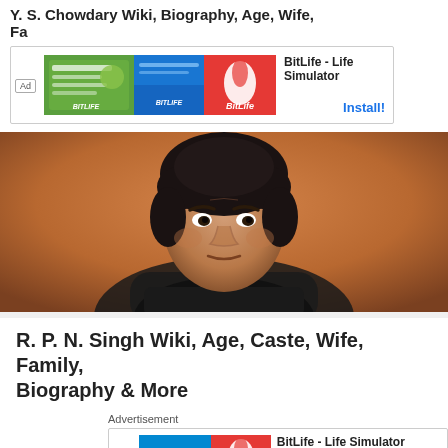Y. S. Chowdary Wiki, Biography, Age, Wife, Family
[Figure (screenshot): BitLife Life Simulator advertisement banner with Ad badge, green/blue/red image blocks and Install button]
[Figure (photo): Portrait photo of R. P. N. Singh, a middle-aged Indian man with dark wavy hair, wearing a dark suit, seated in a chair against an orange/brown background]
R. P. N. Singh Wiki, Age, Caste, Wife, Family, Biography & More
Advertisement
[Figure (screenshot): BitLife Life Simulator advertisement banner with Ad badge, blue/red image blocks and Install button]